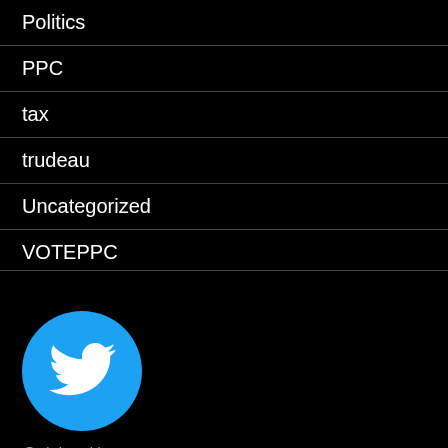Politics
PPC
tax
trudeau
Uncategorized
VOTEPPC
[Figure (logo): Twitter bird logo in a cyan/blue circle]
@ChrisWebbPPC